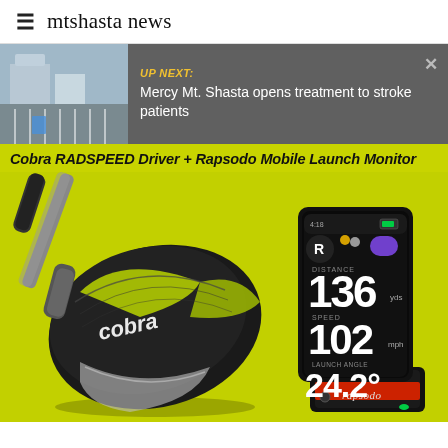≡  mtshasta news
UP NEXT: Mercy Mt. Shasta opens treatment to stroke patients
Cobra RADSPEED Driver + Rapsodo Mobile Launch Monitor
[Figure (photo): Product photo showing a Cobra RADSPEED golf driver club head on the left against a yellow-green background, and a Rapsodo Mobile Launch Monitor device on the right displaying metrics: DISTANCE 136, SPEED 102, LAUNCH ANGLE 24.2°]